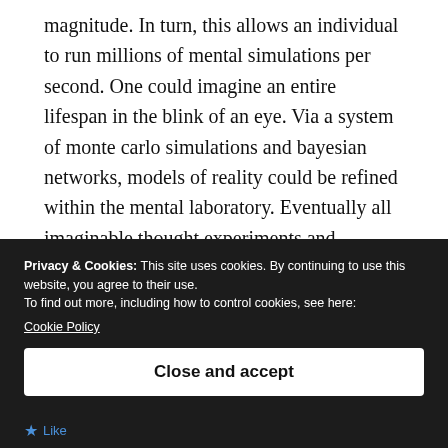magnitude. In turn, this allows an individual to run millions of mental simulations per second. One could imagine an entire lifespan in the blink of an eye. Via a system of monte carlo simulations and bayesian networks, models of reality could be refined within the mental laboratory. Eventually all imaginable thought experiments and scenarios will be permeated. Having exhausted the gamut of topics to think about, the motivators become either maximizing sensations or the
Privacy & Cookies: This site uses cookies. By continuing to use this website, you agree to their use.
To find out more, including how to control cookies, see here:
Cookie Policy
Close and accept
Like